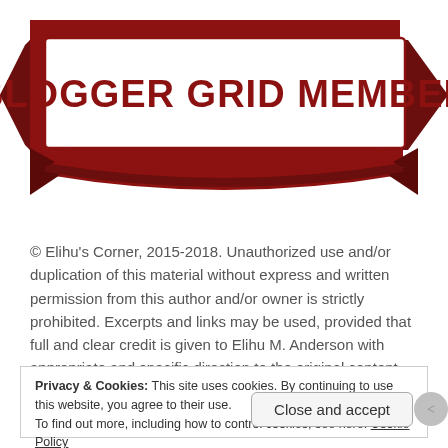[Figure (illustration): Blogger Grid Member ribbon/banner graphic with dark red ribbon shape and white text reading BLOGGER GRID MEMBER]
© Elihu's Corner, 2015-2018. Unauthorized use and/or duplication of this material without express and written permission from this author and/or owner is strictly prohibited. Excerpts and links may be used, provided that full and clear credit is given to Elihu M. Anderson with appropriate and specific direction to the original content.
Privacy & Cookies: This site uses cookies. By continuing to use this website, you agree to their use.
To find out more, including how to control cookies, see here: Cookie Policy
Close and accept